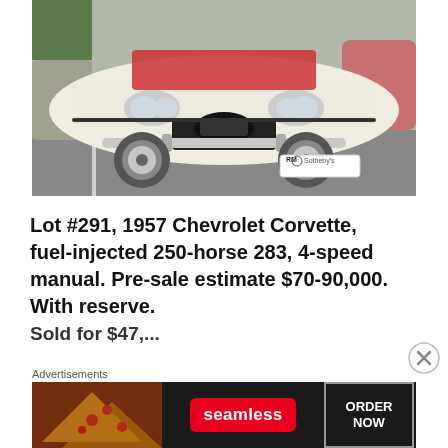[Figure (photo): Front view of a classic 1957/1958 era white convertible automobile (Edsel/Corvette era) parked in a lot, with red interior visible. A RM Sotheby's auction tag is visible in the lower right of the image. Other vintage cars are partially visible in the background.]
Lot #291, 1957 Chevrolet Corvette, fuel-injected 250-horse 283, 4-speed manual. Pre-sale estimate $70-90,000. With reserve. Sold for $47,...
Advertisements
[Figure (photo): Seamless food delivery advertisement banner showing pizza slices on the left, a red Seamless logo pill in the center, and an 'ORDER NOW' button on the right, all on a dark background.]